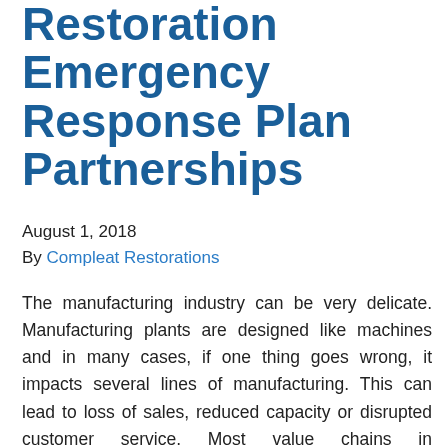Restoration Emergency Response Plan Partnerships
August 1, 2018
By Compleat Restorations
The manufacturing industry can be very delicate. Manufacturing plants are designed like machines and in many cases, if one thing goes wrong, it impacts several lines of manufacturing. This can lead to loss of sales, reduced capacity or disrupted customer service. Most value chains in manufacturing are designed to manage some level of disruption for issues such as maintenance and repairs, accidents or power outages, but there are several unforeseen